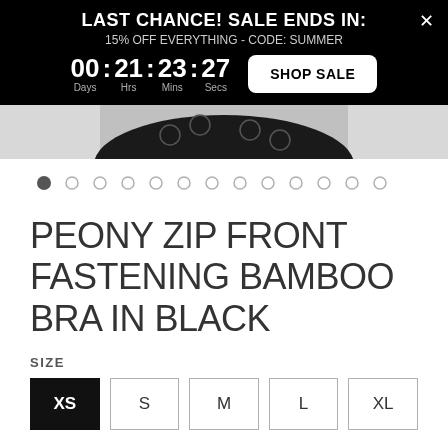LAST CHANCE! SALE ENDS IN:
15% OFF EVERYTHING - CODE: SUMMER
00 : 21 : 23 : 27
Days Hrs Mins Secs
[Figure (photo): Product image of a black bamboo bra with peony/floral pattern, cropped view]
[Figure (other): Carousel navigation dots, 13 dots total, first dot filled/active]
PEONY ZIP FRONT FASTENING BAMBOO BRA IN BLACK
SIZE
| XS | S | M | L | XL |
| --- | --- | --- | --- | --- |
| XS (selected) | S | M | L | XL |